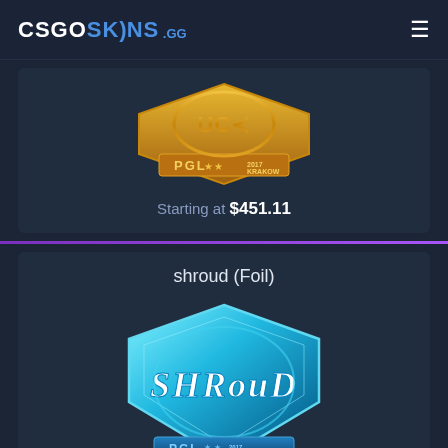CSGOSKINS.GG
[Figure (photo): Gold PGL Krakow 2017 sticker/capsule item image]
Starting at $451.11
shroud (Foil)
[Figure (photo): Blue foil shroud PGL Krakow 2017 sticker image]
Starting at $43.94